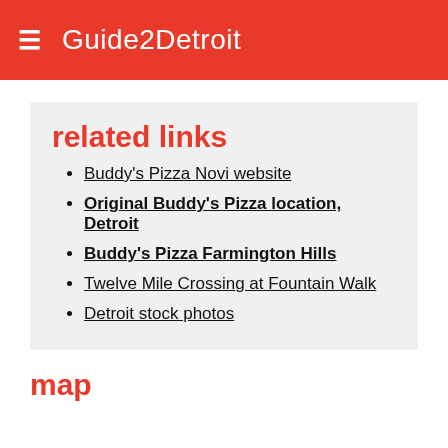Guide2Detroit
related links
Buddy's Pizza Novi website
Original Buddy's Pizza location, Detroit
Buddy's Pizza Farmington Hills
Twelve Mile Crossing at Fountain Walk
Detroit stock photos
map